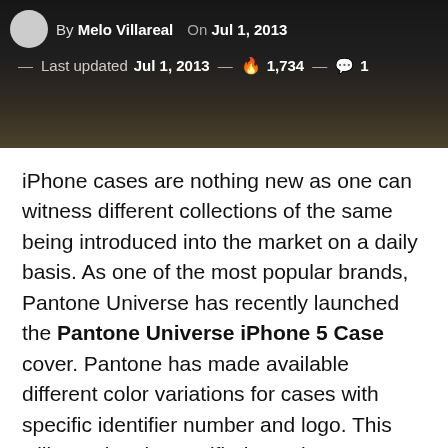By Melo Villareal — On Jul 1, 2013 — Last updated Jul 1, 2013 — 1,734 — 1
iPhone cases are nothing new as one can witness different collections of the same being introduced into the market on a daily basis. As one of the most popular brands, Pantone Universe has recently launched the Pantone Universe iPhone 5 Case cover. Pantone has made available different color variations for cases with specific identifier number and logo. This will permit only specified people access to authorized information. The Pantone iPhone 5 case is specifically designed by keeping in mind the different color variations available in the global color library.